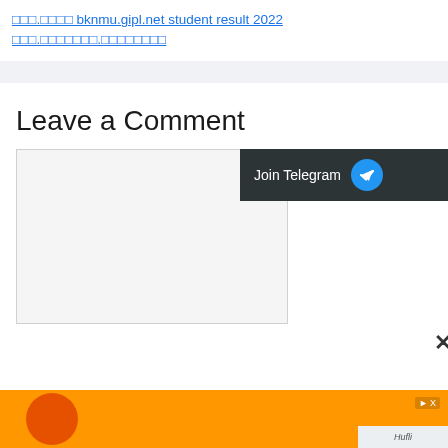□□□.□□□□ bknmu.gipl.net student result 2022 □□□.□□□□□□□.□□□□□□□□
Leave a Comment
[Figure (screenshot): Comment text area (empty), with Join Telegram button overlay on right and close X button below]
[Figure (infographic): Orange advertisement banner at bottom with toy/product image]